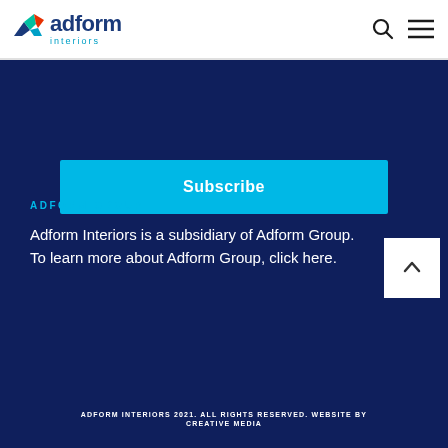[Figure (logo): Adform Interiors logo with stylized arrow mark in blue, green, red and teal; company name 'adform' in dark blue bold text with 'interiors' in small cyan text below]
ADFORM GROUP
Adform Interiors is a subsidiary of Adform Group. To learn more about Adform Group, click here.
ADFORM INTERIORS 2021. ALL RIGHTS RESERVED. WEBSITE BY CREATIVE MEDIA